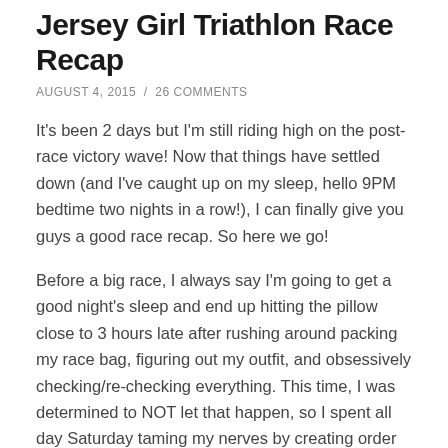Jersey Girl Triathlon Race Recap
AUGUST 4, 2015 / 26 COMMENTS
It's been 2 days but I'm still riding high on the post-race victory wave! Now that things have settled down (and I've caught up on my sleep, hello 9PM bedtime two nights in a row!), I can finally give you guys a good race recap. So here we go!
Before a big race, I always say I'm going to get a good night's sleep and end up hitting the pillow close to 3 hours late after rushing around packing my race bag, figuring out my outfit, and obsessively checking/re-checking everything. This time, I was determined to NOT let that happen, so I spent all day Saturday taming my nerves by creating order around the house (while also packing my things and taking my bike out for a test spin